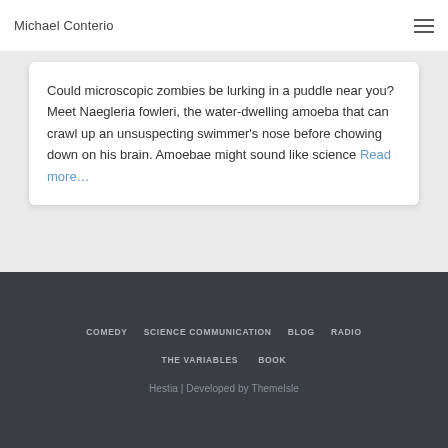Michael Conterio
Could microscopic zombies be lurking in a puddle near you? Meet Naegleria fowleri, the water-dwelling amoeba that can crawl up an unsuspecting swimmer's nose before chowing down on his brain. Amoebae might sound like science Read more…
COMEDY   SCIENCE COMMUNICATION   BLOG   RADIO   THE VARIABLES   BOOK   Hestia | Developed by ThemeIsle